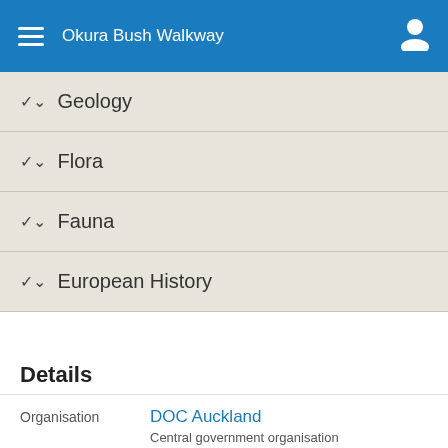Okura Bush Walkway
Geology
Flora
Fauna
European History
Details
Organisation: DOC Auckland, Central government organisation
Location: North Island > Auckland Region > Albany